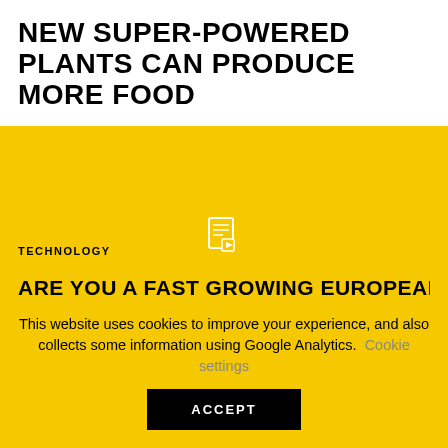NEW SUPER-POWERED PLANTS CAN PRODUCE MORE FOOD
[Figure (other): Yellow background area with a video/document placeholder icon in the center, representing a video or media content area]
TECHNOLOGY
ARE YOU A FAST GROWING EUROPEAN DEEP TECH
This website uses cookies to improve your experience, and also collects some information using Google Analytics. Cookie settings
ACCEPT